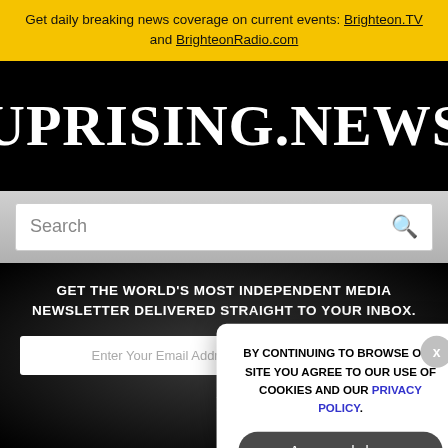Get daily breaking news coverage on current events: Brighteon.TV and BrighteonRadio.com
[Figure (logo): Uprising.News logo in white serif font on black background]
[Figure (screenshot): Search bar with placeholder text 'Search' and magnifying glass icon]
[Figure (infographic): Cookie consent popup overlay with text: BY CONTINUING TO BROWSE OUR SITE YOU AGREE TO OUR USE OF COOKIES AND OUR PRIVACY POLICY. Button: Agree and close. X close button in top right.]
GET THE WORLD'S MOST INDEPENDENT MEDIA NEWSLETTER DELIVERED STRAIGHT TO YOUR INBOX.
Enter Your Email Address  SUBSCRIBE